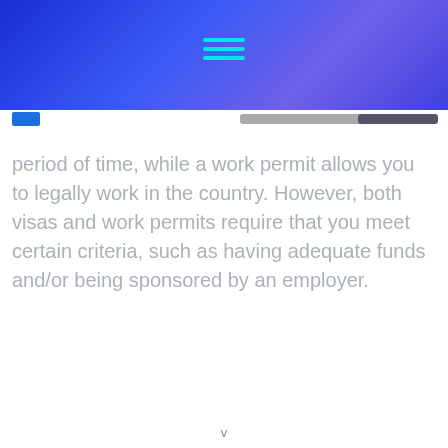[Figure (other): Blue gradient header bar with hamburger menu icon in cyan/teal color centered at top]
period of time, while a work permit allows you to legally work in the country. However, both visas and work permits require that you meet certain criteria, such as having adequate funds and/or being sponsored by an employer.
v